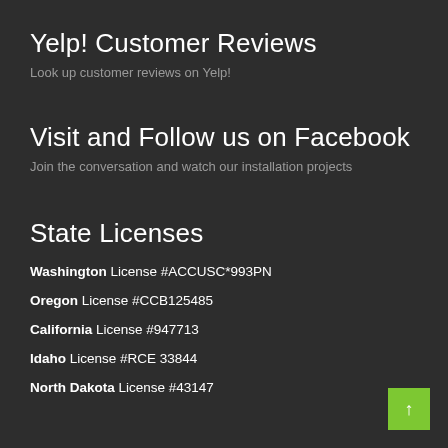Yelp! Customer Reviews
Look up customer reviews on Yelp!
Visit and Follow us on Facebook
Join the conversation and watch our installation projects
State Licenses
Washington License #ACCUSC*993PN
Oregon License #CCB125485
California License #947713
Idaho License #RCE 33844
North Dakota License #43147